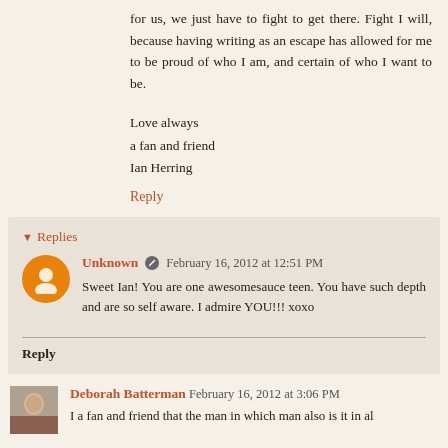for us, we just have to fight to get there. Fight I will, because having writing as an escape has allowed for me to be proud of who I am, and certain of who I want to be.
Love always
a fan and friend
Ian Herring
Reply
Replies
Unknown  February 16, 2012 at 12:51 PM
Sweet Ian! You are one awesomesauce teen. You have such depth and are so self aware. I admire YOU!!! xoxo
Reply
Deborah Batterman  February 16, 2012 at 3:06 PM
I a fan and friend that the man in which man also is it in al